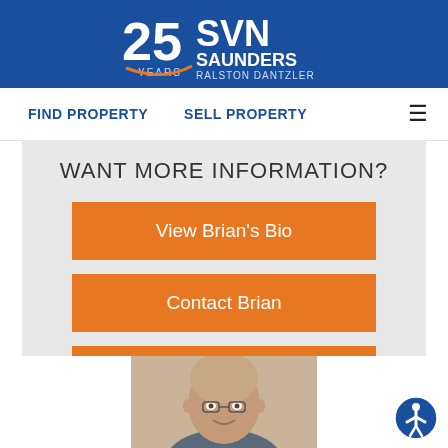[Figure (logo): SVN Saunders Ralston Dantzler logo with '25 Years' text on blue background]
FIND PROPERTY   SELL PROPERTY
WANT MORE INFORMATION?
View Brian's Bio
Contact Brian
View Brian's Listings
[Figure (photo): Headshot photo of Brian, a bald middle-aged man with glasses, smiling, outdoors]